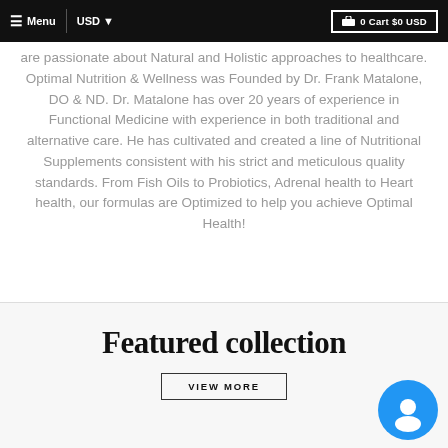≡ Menu  |  USD ▾   🛒 0 Cart $0 USD
are passionate about Natural and Holistic approaches to healthcare. Optimal Nutrition & Wellness was Founded by Dr. Frank Matalone, DO & ND. Dr. Matalone has over 20 years of experience in Functional Medicine with experience in both traditional and alternative care. He has cultivated and created a line of Nutritional Supplements consistent with his strict and meticulous quality standards. From Fish Oils to Probiotics, Adrenal health to Heart health, our formulas are Optimized to help you achieve Optimal Health!
Featured collection
VIEW MORE